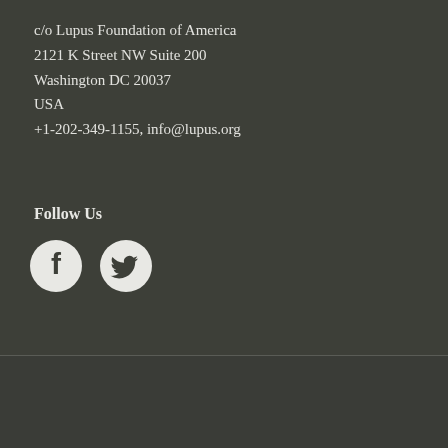c/o Lupus Foundation of America
2121 K Street NW Suite 200
Washington DC 20037
USA
+1-202-349-1155, info@lupus.org
Follow Us
[Figure (illustration): Facebook and Twitter social media icons in white on dark background]
© 2022 World Lupus Federation
Powered by WordPress.com.